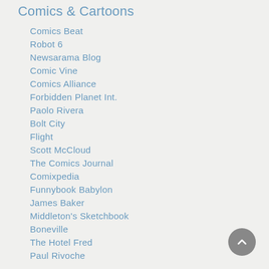Comics & Cartoons
Comics Beat
Robot 6
Newsarama Blog
Comic Vine
Comics Alliance
Forbidden Planet Int.
Paolo Rivera
Bolt City
Flight
Scott McCloud
The Comics Journal
Comixpedia
Funnybook Babylon
James Baker
Middleton's Sketchbook
Boneville
The Hotel Fred
Paul Rivoche